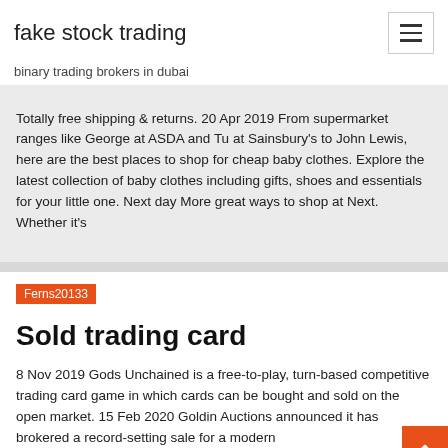fake stock trading
binary trading brokers in dubai
Totally free shipping & returns. 20 Apr 2019 From supermarket ranges like George at ASDA and Tu at Sainsbury's to John Lewis, here are the best places to shop for cheap baby clothes. Explore the latest collection of baby clothes including gifts, shoes and essentials for your little one. Next day More great ways to shop at Next. Whether it's
Ferns20133
Sold trading card
8 Nov 2019 Gods Unchained is a free-to-play, turn-based competitive trading card game in which cards can be bought and sold on the open market. 15 Feb 2020 Goldin Auctions announced it has brokered a record-setting sale for a modern